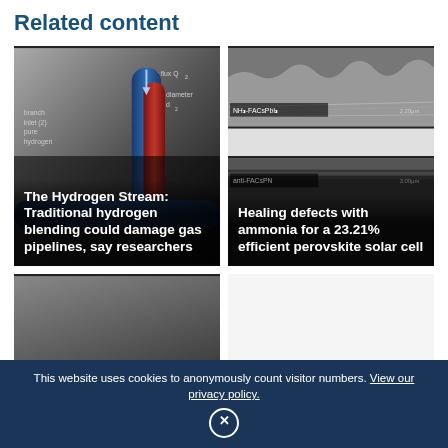Related content
[Figure (photo): Diagram of hydrogen pipeline branching with volume flux Q2 and diameter d2 labels, cylindrical pipes shown in blue and red]
The Hydrogen Stream: Traditional hydrogen blending could damage gas pipelines, say researchers
[Figure (photo): Electron microscope cross-section image of perovskite solar cell layers labeled NH3-FACsPbI3 and anti-FACsPN]
Healing defects with ammonia for a 23.21% efficient perovskite solar cell
[Figure (photo): Pile of dark metallic silicon or coal chunks with a bright piece on top]
Chinese PV Industry Brief: Tongwei...
This website uses cookies to anonymously count visitor numbers. View our privacy policy.